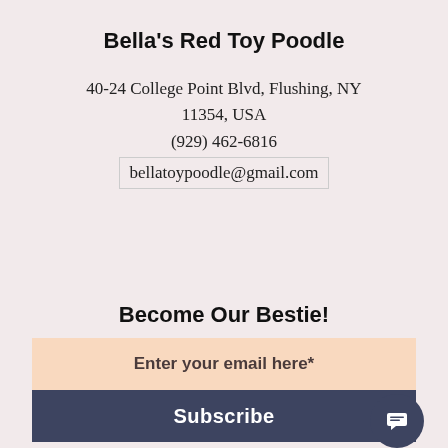Bella's Red Toy Poodle
40-24 College Point Blvd, Flushing, NY 11354, USA
(929) 462-6816
bellatoypoodle@gmail.com
Become Our Bestie!
Enter your email here*
Subscribe